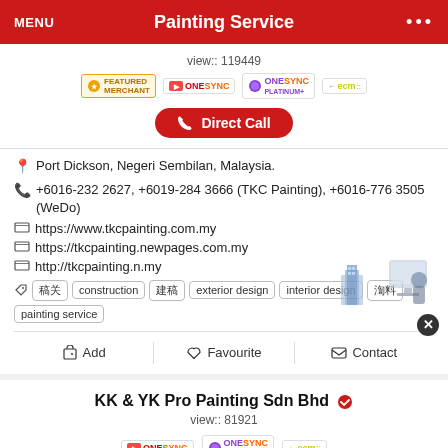MENU | Painting Service | ...
view:: 119449
[Figure (screenshot): Badges: Featured Merchant, OneSync, OneSync Platinum+, ECM logo]
Direct Call
Port Dickson, Negeri Sembilan, Malaysia.
+6016-232 2627, +6019-284 3666 (TKC Painting), +6016-776 3505 (WeDo)
https://www.tkcpainting.com.my
https://tkcpainting.newpages.com.my
http://tkcpainting.n.my
construction, exterior design, interior design, painting service (tags)
Add | Favourite | Contact
KK & YK Pro Painting Sdn Bhd
view:: 81921
[Figure (screenshot): Badges: OneSync, OneSync Platinum+, ECM logo]
Direct Call